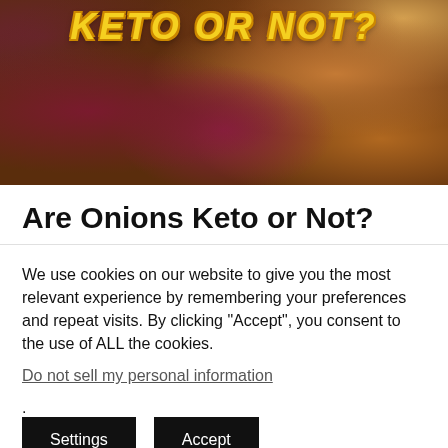[Figure (photo): Photo of various onions (red, brown, white) piled together with yellow stylized text overlay reading 'KETO OR NOT?' in uppercase italic yellow letters]
Are Onions Keto or Not?
We use cookies on our website to give you the most relevant experience by remembering your preferences and repeat visits. By clicking “Accept”, you consent to the use of ALL the cookies.
Do not sell my personal information.
Settings  Accept